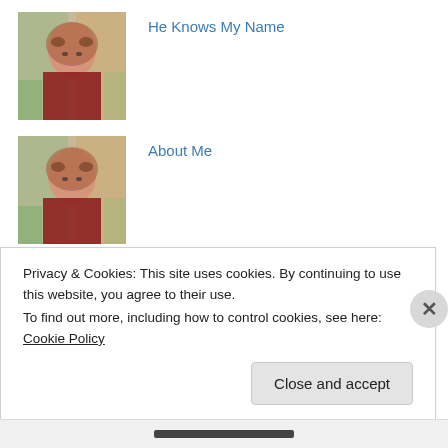He Knows My Name
[Figure (photo): Portrait photo of a smiling woman with glasses and long hair, wearing a red top, outdoor autumn background]
About Me
[Figure (photo): Portrait photo of the same smiling woman with glasses, outdoor autumn background]
The Story of Caleb
[Figure (photo): Black and white photo of a baby or infant]
Privacy & Cookies: This site uses cookies. By continuing to use this website, you agree to their use.
To find out more, including how to control cookies, see here: Cookie Policy
Close and accept